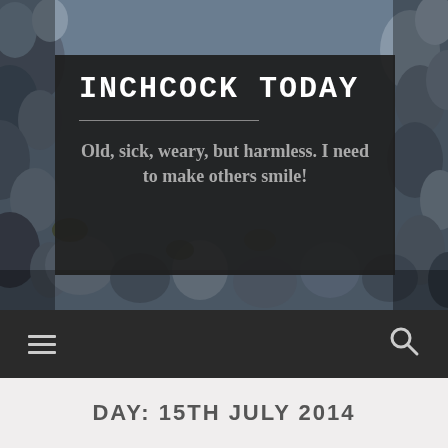[Figure (photo): Background photo of pigeons clustered together, filling the header area]
INCHCOCK TODAY
Old, sick, weary, but harmless. I need to make others smile!
DAY: 15TH JULY 2014